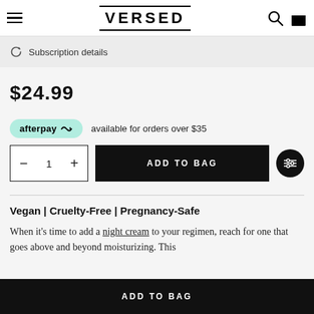VERSED
Subscription details
$24.99
afterpay available for orders over $35
− 1 +  ADD TO BAG
Vegan | Cruelty-Free | Pregnancy-Safe
When it's time to add a night cream to your regimen, reach for one that goes above and beyond moisturizing. This
ADD TO BAG